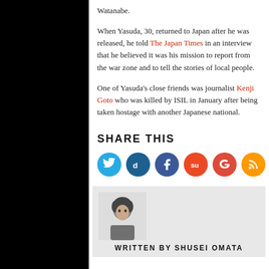Watanabe.
When Yasuda, 30, returned to Japan after he was released, he told The Japan Times in an interview that he believed it was his mission to report from the war zone and to tell the stories of local people.
One of Yasuda's close friends was journalist Kenji Goto who was killed by ISIL in January after being taken hostage with another Japanese national.
SHARE THIS
[Figure (infographic): Row of six social media icon circles: Twitter (blue), Digg (dark blue), Facebook (dark blue), StumbleUpon (orange-red), Google+ (red-orange), RSS (orange)]
[Figure (photo): Author photo: person with dark hair, white background, wearing dark patterned clothing]
WRITTEN BY SHUSEI OMATA